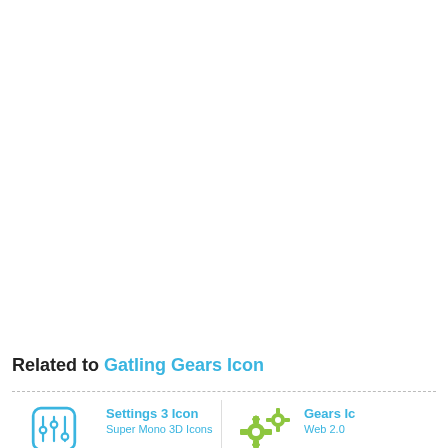Related to Gatling Gears Icon
[Figure (illustration): Settings 3 Icon thumbnail – blue outlined icon of three vertical sliders/connectors inside a rounded rectangle]
Settings 3 Icon
Super Mono 3D Icons
[Figure (illustration): Gears Icon thumbnail – two green gear/cog icons]
Gears Ic
Web 2.0